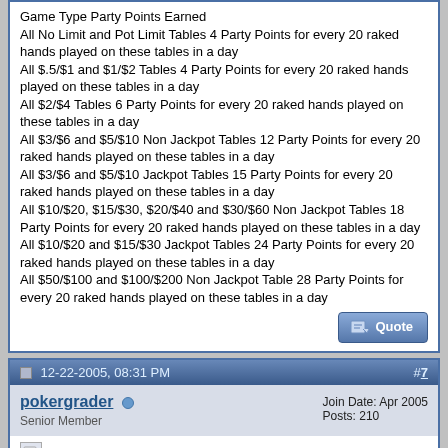Game Type Party Points Earned
All No Limit and Pot Limit Tables 4 Party Points for every 20 raked hands played on these tables in a day
All $.5/$1 and $1/$2 Tables 4 Party Points for every 20 raked hands played on these tables in a day
All $2/$4 Tables 6 Party Points for every 20 raked hands played on these tables in a day
All $3/$6 and $5/$10 Non Jackpot Tables 12 Party Points for every 20 raked hands played on these tables in a day
All $3/$6 and $5/$10 Jackpot Tables 15 Party Points for every 20 raked hands played on these tables in a day
All $10/$20, $15/$30, $20/$40 and $30/$60 Non Jackpot Tables 18 Party Points for every 20 raked hands played on these tables in a day
All $10/$20 and $15/$30 Jackpot Tables 24 Party Points for every 20 raked hands played on these tables in a day
All $50/$100 and $100/$200 Non Jackpot Table 28 Party Points for every 20 raked hands played on these tables in a day
[Figure (other): Quote button]
12-22-2005, 08:31 PM   #7
pokergrader
Senior Member
Join Date: Apr 2005
Posts: 210
Re: 25K party points in a week possible?
Its only around 15k hands of 10/20 6max if you are a gold member, which is around 15k in 5 days or so. all you